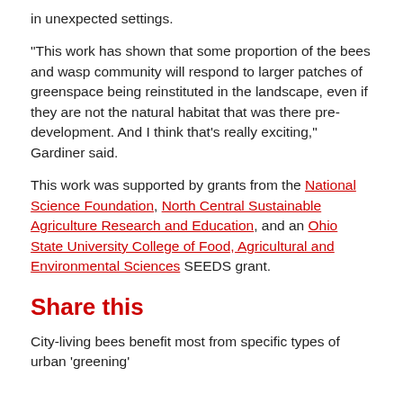in unexpected settings.
“This work has shown that some proportion of the bees and wasp community will respond to larger patches of greenspace being reinstituted in the landscape, even if they are not the natural habitat that was there pre-development. And I think that’s really exciting,” Gardiner said.
This work was supported by grants from the National Science Foundation, North Central Sustainable Agriculture Research and Education, and an Ohio State University College of Food, Agricultural and Environmental Sciences SEEDS grant.
Share this
City-living bees benefit most from specific types of urban ‘greening’